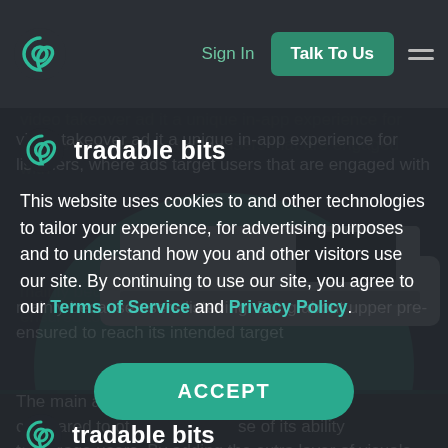Sign In | Talk To Us
[Figure (screenshot): Hero illustration: a laptop/tablet device floating above a teal semicircle on dark background]
[Figure (logo): Tradable Bits logo: stylized spiral/flame icon in teal with text 'tradable bits' in white]
This website uses cookies to and other technologies to tailor your experience, for advertising purposes and to understand how you and other visitors use our site. By continuing to use our site, you agree to our Terms of Service and Privacy Policy.
ACCEPT